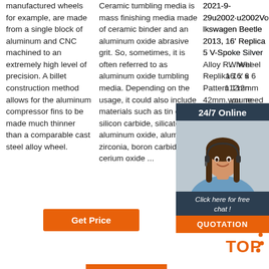manufactured wheels for example, are made from a single block of aluminum and CNC machined to an extremely high level of precision. A billet construction method allows for the aluminum compressor fins to be made much thinner than a comparable cast steel alloy wheel.
Ceramic tumbling media is mass finishing media made of ceramic binder and an aluminum oxide abrasive grit. So, sometimes, it is often referred to as aluminum oxide tumbling media. Depending on the usage, it could also include materials such as tin oxide, silicon carbide, silicate, aluminum oxide, alumina-zirconia, boron carbide, cerium oxide ...
2021-9-29u2002·u2002Volkswagen Beetle 2013, 16' Replica 5 V-Spoke Silver Alloy Rim Wheel Replika 16' x 6 Pattern 112mm 42mm. If you need aluminum steel wheel caps, or even spare wheels for...
[Figure (infographic): Customer service chat widget with '24/7 Online' header, photo of woman with headset, 'Click here for free chat!' text, and orange QUOTATION button]
[Figure (other): Orange dotted arc with TOP text badge in orange]
Get Price
Get Price